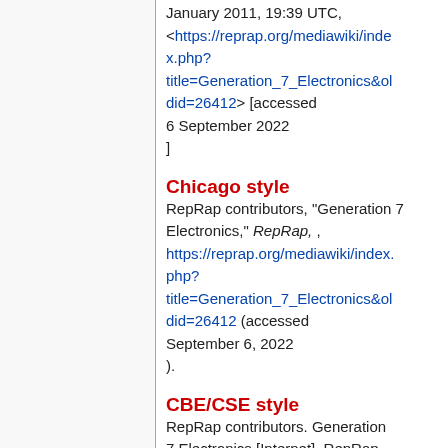January 2011, 19:39 UTC, <https://reprap.org/mediawiki/index.php?title=Generation_7_Electronics&oldid=26412> [accessed 6 September 2022]
Chicago style
RepRap contributors, "Generation 7 Electronics," RepRap, , https://reprap.org/mediawiki/index.php?title=Generation_7_Electronics&oldid=26412 (accessed September 6, 2022).
CBE/CSE style
RepRap contributors. Generation 7 Electronics [Internet]. RepRap, ...